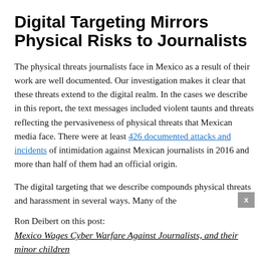Digital Targeting Mirrors Physical Risks to Journalists
The physical threats journalists face in Mexico as a result of their work are well documented. Our investigation makes it clear that these threats extend to the digital realm. In the cases we describe in this report, the text messages included violent taunts and threats reflecting the pervasiveness of physical threats that Mexican media face. There were at least 426 documented attacks and incidents of intimidation against Mexican journalists in 2016 and more than half of them had an official origin.
The digital targeting that we describe compounds physical threats and harassment in several ways. Many of the
Ron Deibert on this post:
Mexico Wages Cyber Warfare Against Journalists, and their minor children